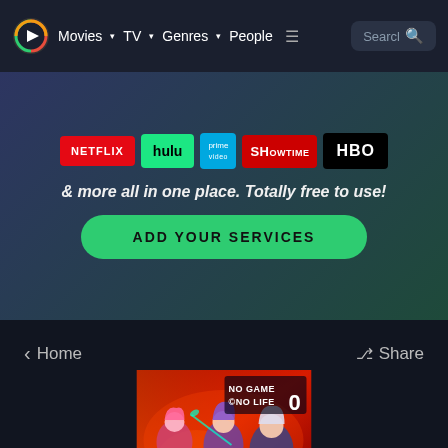Movies | TV | Genres | People | Search
[Figure (screenshot): Streaming service logos: Netflix, Hulu, prime video, SHOWTIME, HBO]
& more all in one place. Totally free to use!
ADD YOUR SERVICES
< Home
< Share
[Figure (illustration): No Game No Life Zero anime movie poster with colorful anime characters]